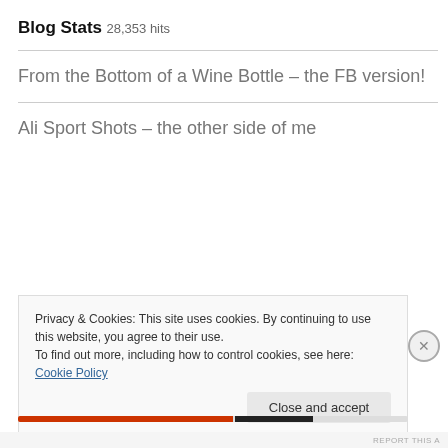Blog Stats
28,353 hits
From the Bottom of a Wine Bottle – the FB version!
Ali Sport Shots – the other side of me
Privacy & Cookies: This site uses cookies. By continuing to use this website, you agree to their use.
To find out more, including how to control cookies, see here: Cookie Policy
Close and accept